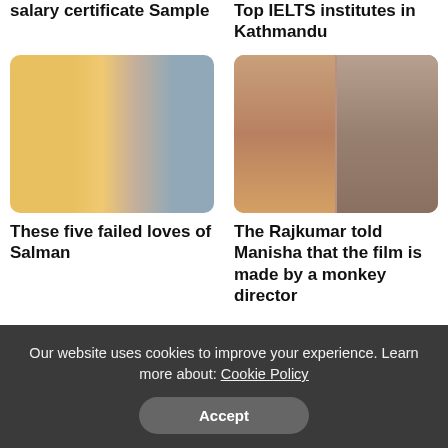salary certificate Sample
Top IELTS institutes in Kathmandu
[Figure (photo): Photo of Aishwarya Rai and Salman Khan together at an event]
These five failed loves of Salman
[Figure (photo): Photo of Manisha Koirala and Rajkumar side by side]
The Rajkumar told Manisha that the film is made by a monkey director
Our website uses cookies to improve your experience. Learn more about: Cookie Policy
Accept